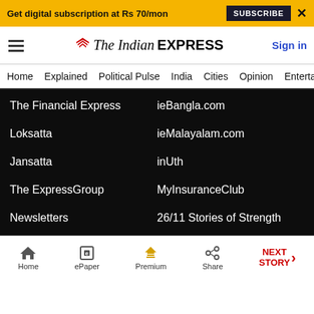Get digital subscription at Rs 70/mon  SUBSCRIBE  ×
[Figure (logo): The Indian Express logo with red chevron icon]
Sign in
Home  Explained  Political Pulse  India  Cities  Opinion  Entertainment
The Financial Express
ieBangla.com
Loksatta
ieMalayalam.com
Jansatta
inUth
The ExpressGroup
MyInsuranceClub
Newsletters
26/11 Stories of Strength
Home  ePaper  Premium  Share  NEXT STORY